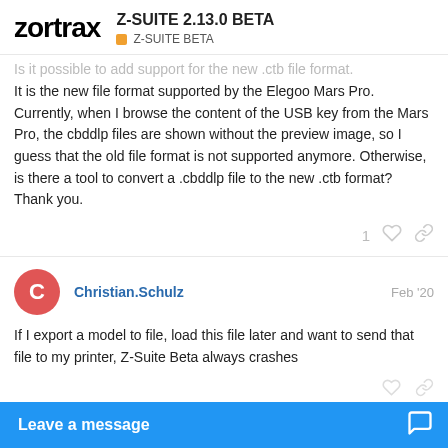zortrax | Z-SUITE 2.13.0 BETA | Z-SUITE BETA
Is it possible to add support for the new .ctb file format. It is the new file format supported by the Elegoo Mars Pro. Currently, when I browse the content of the USB key from the Mars Pro, the cbddlp files are shown without the preview image, so I guess that the old file format is not supported anymore. Otherwise, is there a tool to convert a .cbddlp file to the new .ctb format? Thank you.
Christian.Schulz  Feb '20
If I export a model to file, load this file later and want to send that file to my printer, Z-Suite Beta always crashes
KarolinaZortrax